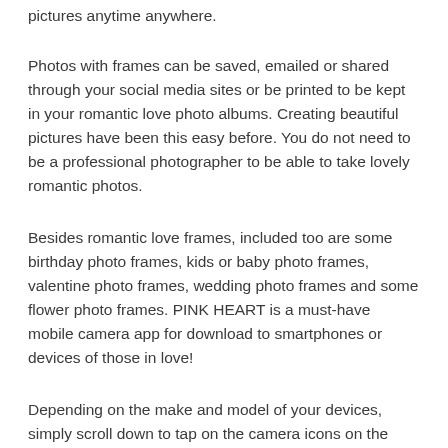pictures anytime anywhere.
Photos with frames can be saved, emailed or shared through your social media sites or be printed to be kept in your romantic love photo albums. Creating beautiful pictures have been this easy before. You do not need to be a professional photographer to be able to take lovely romantic photos.
Besides romantic love frames, included too are some birthday photo frames, kids or baby photo frames, valentine photo frames, wedding photo frames and some flower photo frames. PINK HEART is a must-have mobile camera app for download to smartphones or devices of those in love!
Depending on the make and model of your devices, simply scroll down to tap on the camera icons on the camera screen and then click on Take a Picture or + sign button and